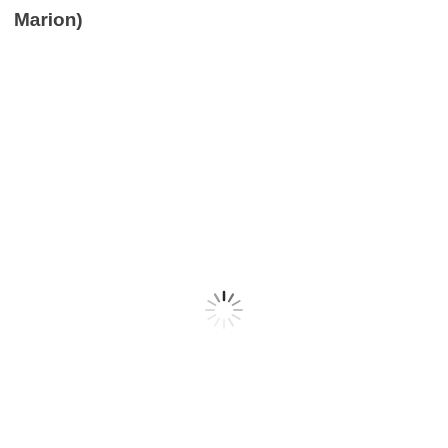Marion)
[Figure (other): Loading spinner icon (sunburst/radial lines pattern) centered on the page, indicating content is loading]